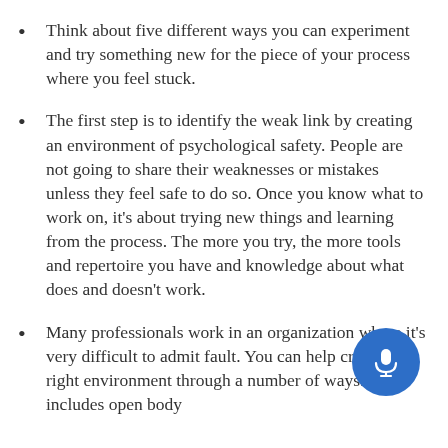Think about five different ways you can experiment and try something new for the piece of your process where you feel stuck.
The first step is to identify the weak link by creating an environment of psychological safety. People are not going to share their weaknesses or mistakes unless they feel safe to do so. Once you know what to work on, it's about trying new things and learning from the process. The more you try, the more tools and repertoire you have and knowledge about what does and doesn't work.
Many professionals work in an organization where it's very difficult to admit fault. You can help create the right environment through a number of ways. This includes open body